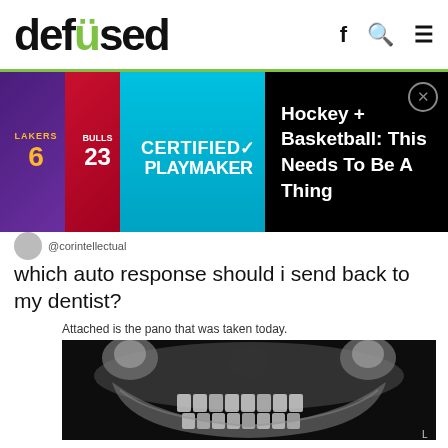defused
[Figure (photo): Advertisement banner with sports jerseys (Lakers, Bulls) and 'Certified Playmaker' text on left, black background with text 'Hockey + Basketball: This Needs To Be A Thing' on right]
@corintellectual
which auto response should i send back to my dentist?
Attached is the pano that was taken today.
[Figure (photo): Panoramic dental X-ray (orthopantomogram) showing full jaw with teeth in black and white]